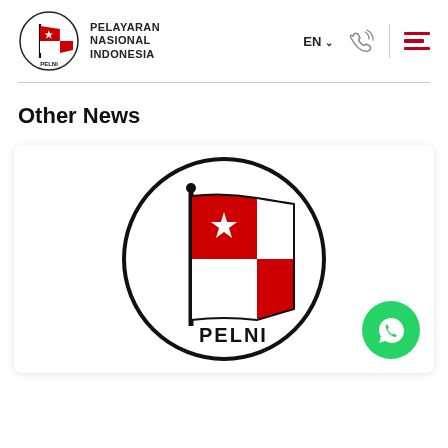[Figure (logo): PELNI logo: circle with flag, text PELAYARAN NASIONAL INDONESIA]
EN   ☎   ☰
Other News
[Figure (logo): PELNI large logo in circular design with red and white flag and star, text PELNI at bottom, with WhatsApp floating button overlay]